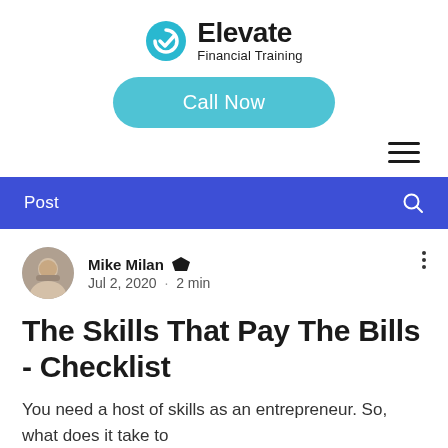[Figure (logo): Elevate Financial Training logo with teal circular icon and text]
[Figure (other): Call Now button in teal/cyan rounded pill shape]
[Figure (other): Hamburger menu icon (three horizontal lines)]
Post
Mike Milan  Admin
Jul 2, 2020 · 2 min
The Skills That Pay The Bills - Checklist
You need a host of skills as an entrepreneur.  So, what does it take to